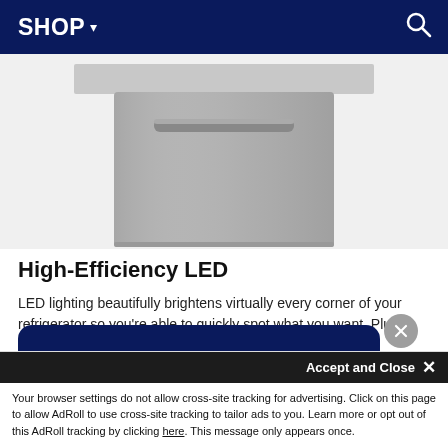SHOP ▾  🔍
[Figure (photo): Partial view of a stainless steel refrigerator/appliance drawer panel against a light gray background]
High-Efficiency LED
LED lighting beautifully brightens virtually every corner of your refrigerator so you're able to quickly spot what you want. Plus, it emits less heat and is more energy-efficient than conventional lighting. The sophisticated modern design will beautifully complement your kitchen.
Welcome! My name is Dan Nantais, owner of Milcarsky's. How can I assist you today?
Accept and Close ✕
Your browser settings do not allow cross-site tracking for advertising. Click on this page to allow AdRoll to use cross-site tracking to tailor ads to you. Learn more or opt out of this AdRoll tracking by clicking here. This message only appears once.